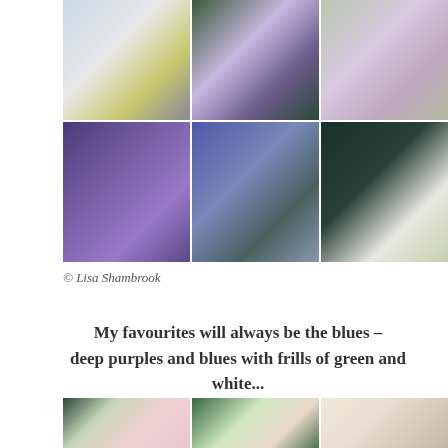[Figure (photo): 2x3 grid collage of columbine flower photos showing white, purple, blue-purple, green-centered, and white varieties in close-up macro photography]
© Lisa Shambrook
My favourites will always be the blues – deep purples and blues with frills of green and white...
[Figure (photo): Bottom row of three columbine flower photos showing pink varieties]